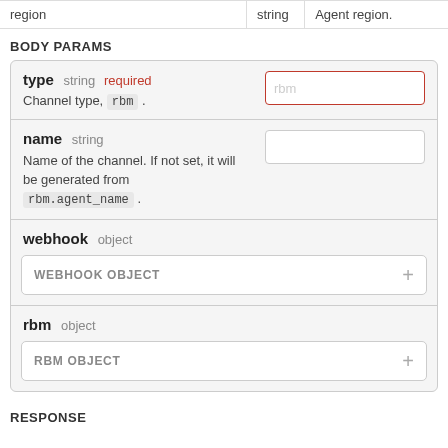|  |  |  |
| --- | --- | --- |
| region | string | Agent region. |
BODY PARAMS
| type string required | input: rbm |
| --- | --- |
| Channel type, rbm. |  |
| name string |  |
| Name of the channel. If not set, it will be generated from rbm.agent_name. |  |
| webhook object | WEBHOOK OBJECT + |
| rbm object | RBM OBJECT + |
RESPONSE